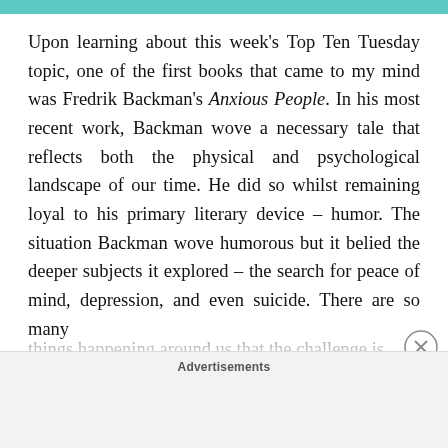Upon learning about this week's Top Ten Tuesday topic, one of the first books that came to my mind was Fredrik Backman's Anxious People. In his most recent work, Backman wove a necessary tale that reflects both the physical and psychological landscape of our time. He did so whilst remaining loyal to his primary literary device – humor. The situation Backman wove humorous but it belied the deeper subjects it explored – the search for peace of mind, depression, and even suicide. There are so many things happening around us that the challenge is
Advertisements